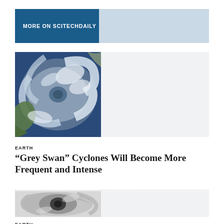MORE ON SCITECHDAILY
[Figure (photo): Satellite aerial view of a tropical cyclone/hurricane swirling over ocean and coastline]
EARTH
“Grey Swan” Cyclones Will Become More Frequent and Intense
[Figure (photo): Close-up black and white aerial view of hurricane eye and spiral cloud bands]
EARTH